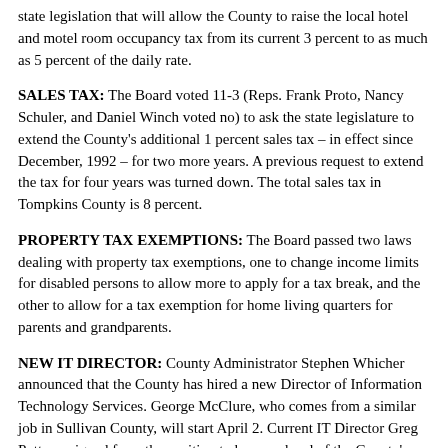state legislation that will allow the County to raise the local hotel and motel room occupancy tax from its current 3 percent to as much as 5 percent of the daily rate.
SALES TAX: The Board voted 11-3 (Reps. Frank Proto, Nancy Schuler, and Daniel Winch voted no) to ask the state legislature to extend the County's additional 1 percent sales tax – in effect since December, 1992 – for two more years. A previous request to extend the tax for four years was turned down. The total sales tax in Tompkins County is 8 percent.
PROPERTY TAX EXEMPTIONS: The Board passed two laws dealing with property tax exemptions, one to change income limits for disabled persons to allow more to apply for a tax break, and the other to allow for a tax exemption for home living quarters for parents and grandparents.
NEW IT DIRECTOR: County Administrator Stephen Whicher announced that the County has hired a new Director of Information Technology Services. George McClure, who comes from a similar job in Sullivan County, will start April 2. Current IT Director Greg Potter resigned from the position to become head of the County's Geographic Information Systems (GIS) program.
- END -